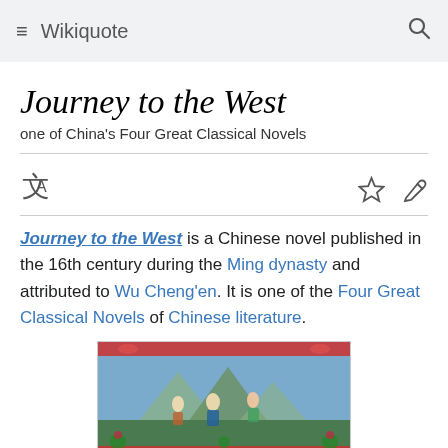Wikiquote
Journey to the West
one of China's Four Great Classical Novels
Journey to the West is a Chinese novel published in the 16th century during the Ming dynasty and attributed to Wu Cheng'en. It is one of the Four Great Classical Novels of Chinese literature.
[Figure (photo): Decorative ceramic bowl or plaque depicting scenes from Journey to the West, with figures in colorful traditional dress against a landscape with mountains, red scrollwork borders, and green floral elements.]
When man has a virtuous thought,
Heaven will grant him support.